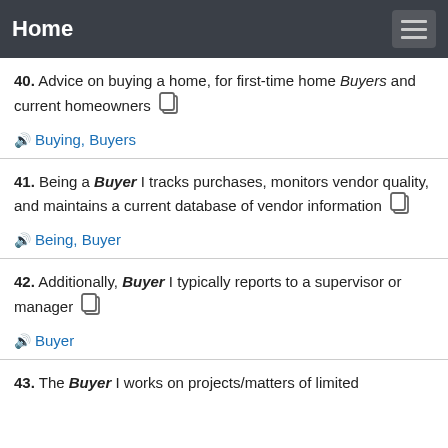Home
40. Advice on buying a home, for first-time home Buyers and current homeowners  [copy icon]  🔊 Buying, Buyers
41. Being a Buyer I tracks purchases, monitors vendor quality, and maintains a current database of vendor information  [copy icon]  🔊 Being, Buyer
42. Additionally, Buyer I typically reports to a supervisor or manager  [copy icon]  🔊 Buyer
43. The Buyer I works on projects/matters of limited